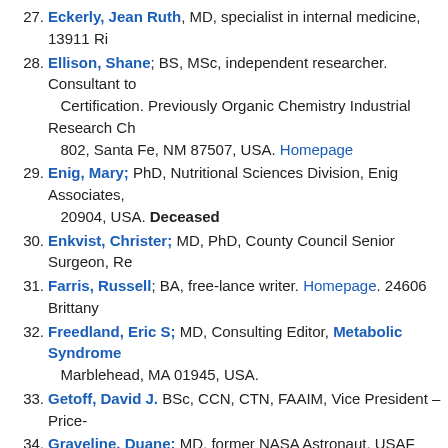27. Eckerly, Jean Ruth, MD, specialist in internal medicine, 13911 Ri
28. Ellison, Shane; BS, MSc, independent researcher. Consultant to Certification. Previously Organic Chemistry Industrial Research Ch 802, Santa Fe, NM 87507, USA. Homepage
29. Enig, Mary; PhD, Nutritional Sciences Division, Enig Associates, 20904, USA. Deceased
30. Enkvist, Christer; MD, PhD, County Council Senior Surgeon, Re
31. Farris, Russell; BA, free-lance writer. Homepage. 24606 Brittany
32. Freedland, Eric S; MD, Consulting Editor, Metabolic Syndrome Marblehead, MA 01945, USA.
33. Getoff, David J. BSc, CCN, CTN, FAAIM, Vice President – Price-
34. Graveline, Duane; MD, former NASA Astronaut, USAF Flight Sur 4414 Cormorant Ln., Merritt Island, FL 32953 Homepage Interview
35. Grill, Jeffrey A. M.D., FCCP, FATC. The Legend, 6735 East Gree 85254, USA.
36. Groves, Barry PhD (nutritional science), independent researcher,
37. Halleen, Jussi; PhD, Adjunct Professor (University of Oulu), C.E. Pitkkatu 4C, 20520 Turku, Finland.
38. Hallstensen, Kenn, engineer; Ekebergåsen 8, 1900 Fetsund, Nor
39. Hammarskjöld, Björn; MD, PhD, specialist in pediatrics, Vika 321